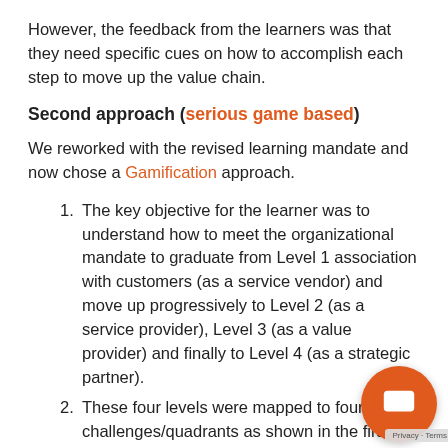However, the feedback from the learners was that they need specific cues on how to accomplish each step to move up the value chain.
Second approach (serious game based)
We reworked with the revised learning mandate and now chose a Gamification approach.
The key objective for the learner was to understand how to meet the organizational mandate to graduate from Level 1 association with customers (as a service vendor) and move up progressively to Level 2 (as a service provider), Level 3 (as a value provider) and finally to Level 4 (as a strategic partner).
These four levels were mapped to four challenges/quadrants as shown in the first screenshot.